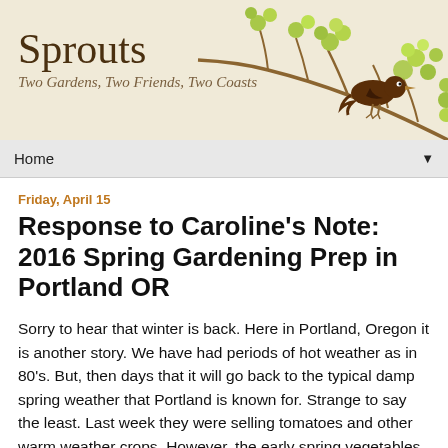[Figure (illustration): Blog header banner with 'Sprouts' title, subtitle 'Two Gardens, Two Friends, Two Coasts', decorated with illustrated brown bird on a branch with green flowers on cream/beige background]
Home ▼
Friday, April 15
Response to Caroline's Note: 2016 Spring Gardening Prep in Portland OR
Sorry to hear that winter is back. Here in Portland, Oregon it is another story. We have had periods of hot weather as in 80's. But, then days that it will go back to the typical damp spring weather that Portland is known for. Strange to say the least. Last week they were selling tomatoes and other warm weather crops. However, the early spring vegetables like lettuce and peas have not yet emerged in most gardens here. Everything else here is in full spring bloom, and the